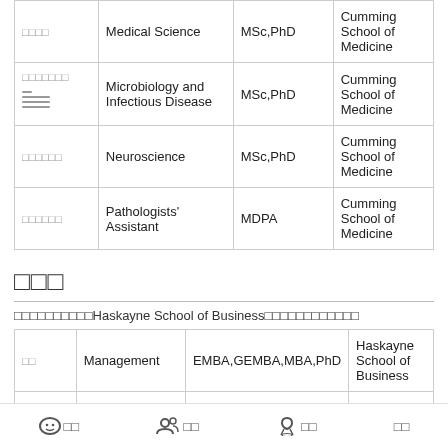| ID | Program | Degrees | Faculty |
| --- | --- | --- | --- |
| □□□□ | Medical Science | MSc,PhD | Cumming School of Medicine |
| □□□□□□□ | Microbiology and Infectious Disease | MSc,PhD | Cumming School of Medicine |
| □□□□□□ | Neuroscience | MSc,PhD | Cumming School of Medicine |
| □□□□□□ | Pathologists' Assistant | MDPA | Cumming School of Medicine |
□□□
□□□□□□□□□□Haskayne School of Business□□□□□□□□□□□□
| ID | Program | Degrees | Faculty |
| --- | --- | --- | --- |
| □□ | Management | EMBA,GEMBA,MBA,PhD | Haskayne School of Business |
| □□□□□□□□□ | Natural Resources, Energy and | Cert. | Haskayne School of |